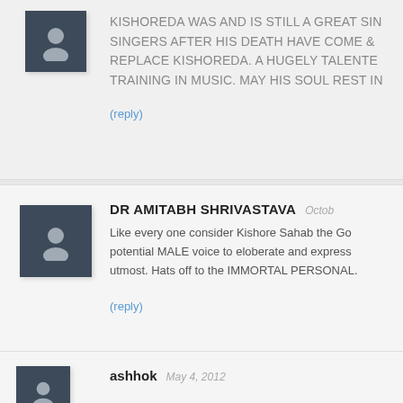KISHOREDA WAS AND IS STILL A GREAT SINGER AFTER HIS DEATH HAVE COME & REPLACE KISHOREDA. A HUGELY TALENTED TRAINING IN MUSIC. MAY HIS SOUL REST IN
(reply)
DR AMITABH SHRIVASTAVA
Like every one consider Kishore Sahab the God potential MALE voice to eloberate and express utmost. Hats off to the IMMORTAL PERSONAL.
(reply)
ashhok
May 4, 2012